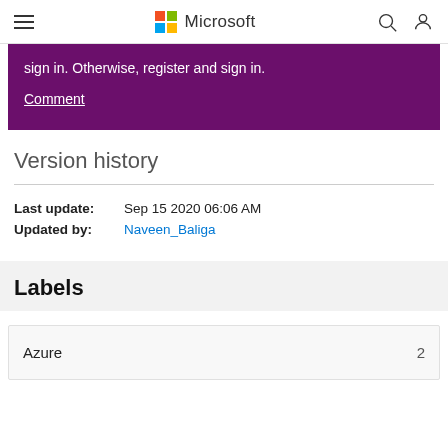Microsoft
sign in. Otherwise, register and sign in.
Comment
Version history
Last update: Sep 15 2020 06:06 AM
Updated by: Naveen_Baliga
Labels
Azure  2